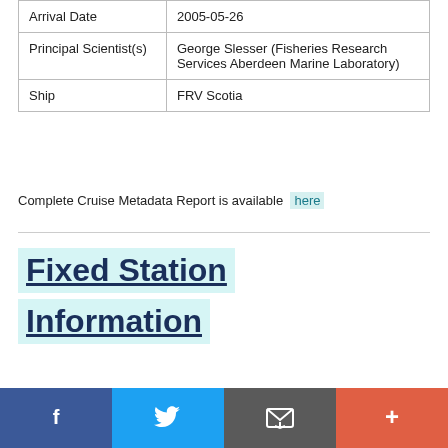| Arrival Date | 2005-05-26 |
| Principal Scientist(s) | George Slesser (Fisheries Research Services Aberdeen Marine Laboratory) |
| Ship | FRV Scotia |
Complete Cruise Metadata Report is available here
Fixed Station Information
[Figure (other): Social media sharing bar with Facebook, Twitter, Email, and plus/more buttons]